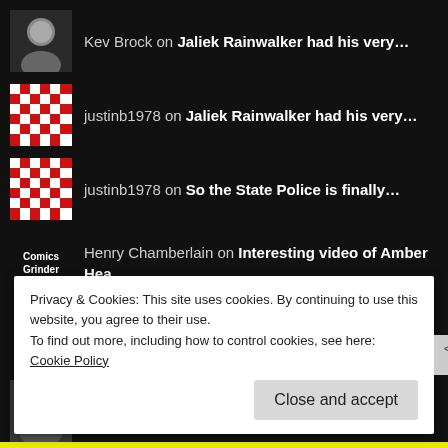Kev Brock on Jaliek Rainwalker had his very...
justinb1978 on Jaliek Rainwalker had his very...
justinb1978 on So the State Police is finally...
Henry Chamberlain on Interesting video of Amber Hea...
Henry Chamberlain on One thing I'm very impre...
A. L. Luttrell on It's hilarious seeing al...
Kev Brock on well I got that covid-19, just...
justinb1978 on well I got that covid-19, just...
Privacy & Cookies: This site uses cookies. By continuing to use this website, you agree to their use.
To find out more, including how to control cookies, see here: Cookie Policy
Close and accept